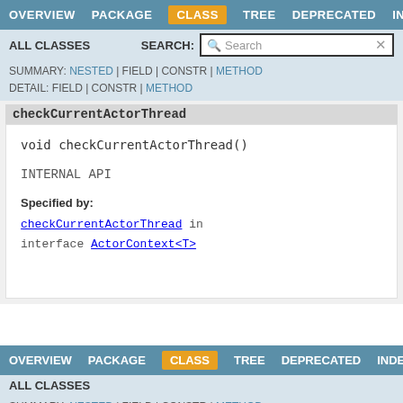OVERVIEW  PACKAGE  CLASS  TREE  DEPRECATED  INDEX
ALL CLASSES   SEARCH:
SUMMARY: NESTED | FIELD | CONSTR | METHOD
DETAIL: FIELD | CONSTR | METHOD
checkCurrentActorThread
void checkCurrentActorThread()
INTERNAL API
Specified by:
checkCurrentActorThread in interface ActorContext<T>
OVERVIEW  PACKAGE  CLASS  TREE  DEPRECATED  INDEX
ALL CLASSES
SUMMARY: NESTED | FIELD | CONSTR | METHOD
DETAIL: FIELD | CONSTR | METHOD